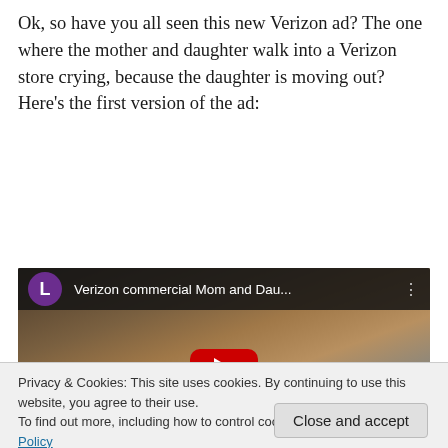Ok, so have you all seen this new Verizon ad?  The one where the mother and daughter walk into a Verizon store crying, because the daughter is moving out?  Here's the first version of the ad:
[Figure (screenshot): YouTube video embed showing 'Verizon commercial Mom and Dau...' with a thumbnail of a woman with blonde hair and a red YouTube play button overlay. Purple avatar with letter L in top-left corner.]
Privacy & Cookies: This site uses cookies. By continuing to use this website, you agree to their use.
To find out more, including how to control cookies, see here: Cookie Policy
Close and accept